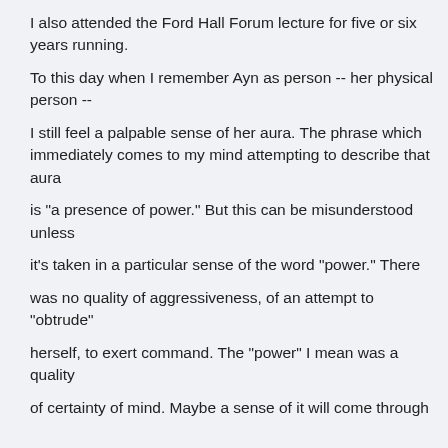I also attended the Ford Hall Forum lecture for five or six years running.
To this day when I remember Ayn as person -- her physical person --
I still feel a palpable sense of her aura. The phrase which immediately comes to my mind attempting to describe that aura
is "a presence of power." But this can be misunderstood unless
it's taken in a particular sense of the word "power." There
was no quality of aggressiveness, of an attempt to "obtrude"
herself, to exert command. The "power" I mean was a quality
of certainty of mind. Maybe a sense of it will come through